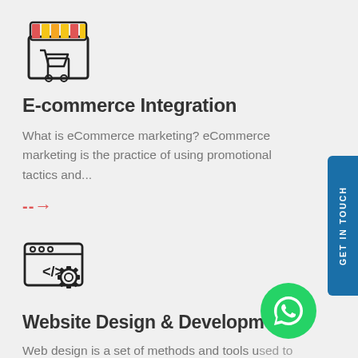[Figure (illustration): E-commerce/shop icon: stylized store front with colorful awning (red, yellow, orange) and shopping cart]
E-commerce Integration
What is eCommerce marketing? eCommerce marketing is the practice of using promotional tactics and...
-->
[Figure (illustration): Website/coding icon: browser window with </> code symbol and a gear/settings cog]
Website Design & Development
Web design is a set of methods and tools used to create websites. It can be described as the...
-->